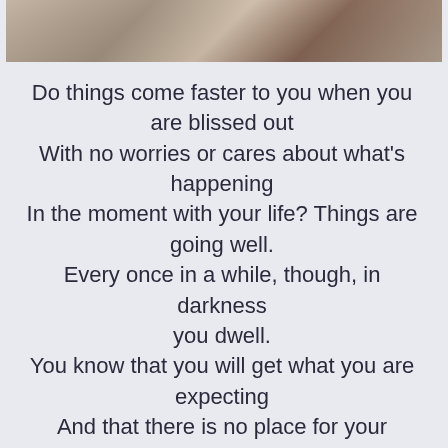[Figure (photo): Cropped photo of a person at a desk with books/binders in background]
Do things come faster to you when you are blissed out
With no worries or cares about what's happening
In the moment with your life? Things are going well.
Every once in a while, though, in darkness you dwell.
You know that you will get what you are expecting
And that there is no place for your infrequent doubt.

You want to pinch yourself to know that it is true.